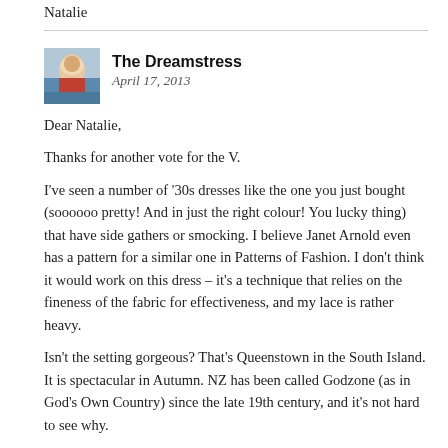Natalie
The Dreamstress
April 17, 2013
Dear Natalie,

Thanks for another vote for the V.

I've seen a number of '30s dresses like the one you just bought (soooooo pretty! And in just the right colour! You lucky thing) that have side gathers or smocking. I believe Janet Arnold even has a pattern for a similar one in Patterns of Fashion. I don't think it would work on this dress – it's a technique that relies on the fineness of the fabric for effectiveness, and my lace is rather heavy.

Isn't the setting gorgeous? That's Queenstown in the South Island. It is spectacular in Autumn. NZ has been called Godzone (as in God's Own Country) since the late 19th century, and it's not hard to see why.